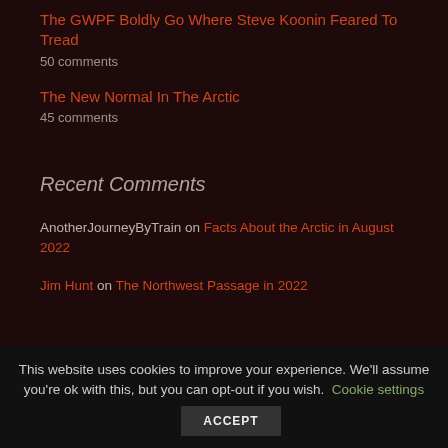The GWPF Boldly Go Where Steve Koonin Feared To Tread
50 comments
The New Normal In The Arctic
45 comments
Recent Comments
AnotherJourneyByTrain on Facts About the Arctic in August 2022
Jim Hunt on The Northwest Passage in 2022
This website uses cookies to improve your experience. We'll assume you're ok with this, but you can opt-out if you wish. Cookie settings ACCEPT